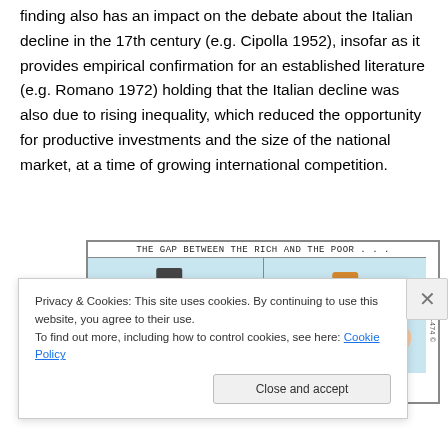finding also has an impact on the debate about the Italian decline in the 17th century (e.g. Cipolla 1952), insofar as it provides empirical confirmation for an established literature (e.g. Romano 1972) holding that the Italian decline was also due to rising inequality, which reduced the opportunity for productive investments and the size of the national market, at a time of growing international competition.
[Figure (illustration): Cartoon panel showing 'THE GAP BETWEEN THE RICH AND THE POOR...' with two comic strip panels depicting a rich person with top hat and a poor person, on a light blue background. Side label reads '2011-474 ©'.]
Privacy & Cookies: This site uses cookies. By continuing to use this website, you agree to their use.
To find out more, including how to control cookies, see here: Cookie Policy
Close and accept